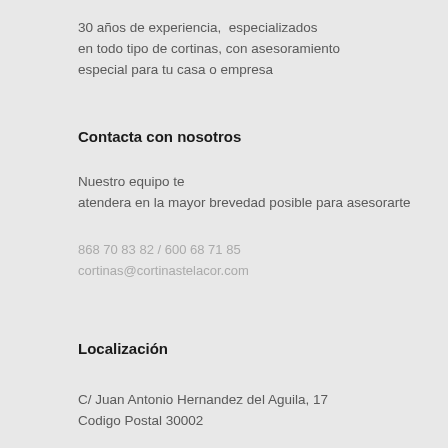30 años de experiencia,  especializados en todo tipo de cortinas, con asesoramiento especial para tu casa o empresa
Contacta con nosotros
Nuestro equipo te atendera en la mayor brevedad posible para asesorarte
868 70 83 82 / 600 68 71 85
cortinas@cortinastelacor.com
Localización
C/ Juan Antonio Hernandez del Aguila, 17
Codigo Postal 30002